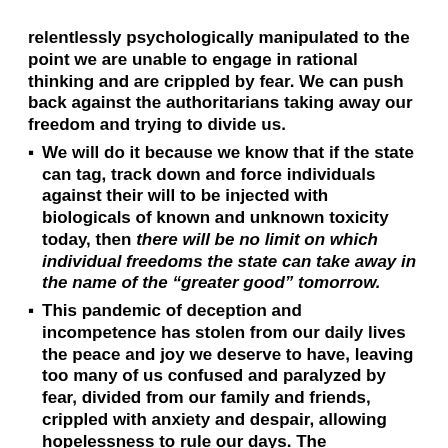relentlessly psychologically manipulated to the point we are unable to engage in rational thinking and are crippled by fear.  We can push back against the authoritarians taking away our freedom and trying to divide us.
We will do it because we know that if the state can tag, track down and force individuals against their will to be injected with biologicals of known and unknown toxicity today, then there will be no limit on which individual freedoms the state can take away in the name of the “greater good” tomorrow.
This pandemic of deception and incompetence has stolen from our daily lives the peace and joy we deserve to have, leaving too many of us confused and paralyzed by fear, divided from our family and friends, crippled with anxiety and despair, allowing hopelessness to rule our days.  The government-issued passport allowing you to function in society is just the first step on the slippery slope to what will be many more requirements and restrictions on your freedom in the days, months and